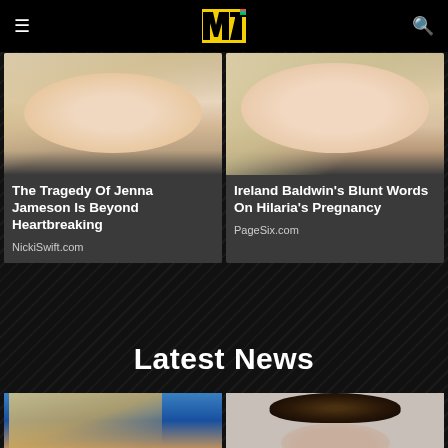MTV
[Figure (photo): Article card: photo of Jenna Jameson (blonde hair, close-up face/chin), title 'The Tragedy Of Jenna Jameson Is Beyond Heartbreaking', source NickiSwift.com]
[Figure (photo): Article card: photo of Ireland Baldwin (blonde hair, close-up face), title 'Ireland Baldwin's Blunt Words On Hilaria's Pregnancy', source PageSix.com]
Latest News
[Figure (photo): Bottom photo left: blonde woman on blue background]
[Figure (photo): Bottom photo right: person with dark braided updo hair on grey background]